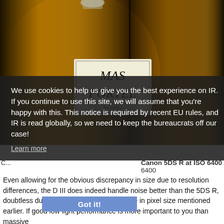[Figure (photo): Two wine bottles side by side — left bottle shows label 'MAS PORTEL', right bottle partially visible with similar label 'M PO...' in italic script. Dark background with amber-colored wine.]
We use cookies to help us give you the best experience on IR. If you continue to use this site, we will assume that you're happy with this. This notice is required by recent EU rules, and IR is read globally, so we need to keep the bureaucrats off our case!
Learn more
C... Canon 5DS R at ISO 6400 6400
Even allowing for the obvious discrepancy in size due to resolution differences, the D III does indeed handle noise better than the 5DS R, doubtless due in large part to the difference in pixel size mentioned earlier. If good low light performance is more important to you than massive
Got it!